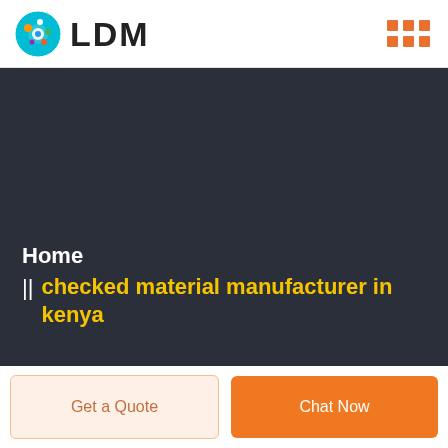[Figure (logo): LDM logo with circular icon on the left and text LDM on the right, plus orange grid/hamburger icon on far right]
Home || checked material manufacturer in kenya
Get a Quote
Chat Now